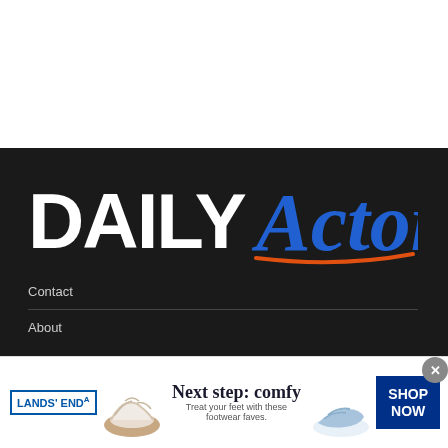[Figure (logo): DAILY Actor logo — DAILY in white bold sans-serif, Actor in blue italic script with orange underline stroke, on black background]
Contact
About
[Figure (infographic): Lands' End advertisement banner: Lands' End logo, white sandal shoe image, text 'Next step: comfy – Treat your feet with these footwear faves.', blue slide sandal image, SHOP NOW button]